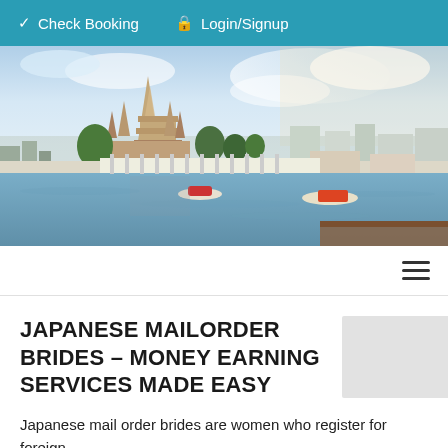✓ Check Booking   🔒 Login/Signup
[Figure (photo): Panoramic view of Bangkok skyline with Wat Arun temple beside the Chao Phraya River, boats on the water, blue sky with clouds]
hamburger menu icon
JAPANESE MAILORDER BRIDES – MONEY EARNING SERVICES MADE EASY
Japanese mail order brides are women who register for foreign